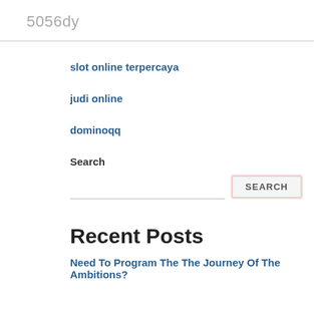5056dy
slot online terpercaya
judi online
dominoqq
Search
Recent Posts
Need To Program The The Journey Of The Ambitions?